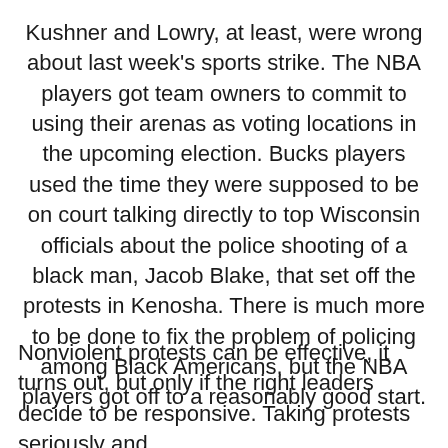Kushner and Lowry, at least, were wrong about last week's sports strike. The NBA players got team owners to commit to using their arenas as voting locations in the upcoming election. Bucks players used the time they were supposed to be on court talking directly to top Wisconsin officials about the police shooting of a black man, Jacob Blake, that set off the protests in Kenosha. There is much more to be done to fix the problem of policing among Black Americans, but the NBA players got off to a reasonably good start.
Nonviolent protests can be effective, it turns out, but only if the right leaders decide to be responsive. Taking protests seriously and...